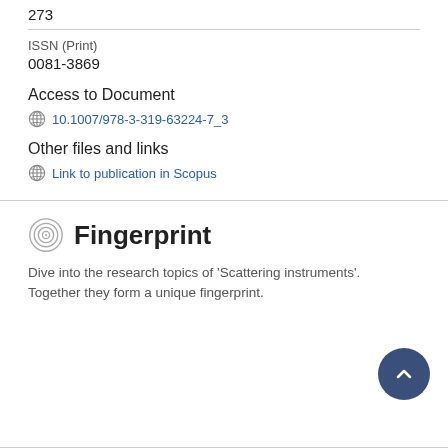273
ISSN (Print)
0081-3869
Access to Document
10.1007/978-3-319-63224-7_3
Other files and links
Link to publication in Scopus
Fingerprint
Dive into the research topics of 'Scattering instruments'. Together they form a unique fingerprint.